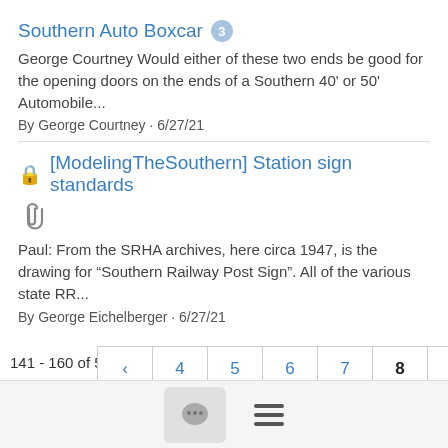Southern Auto Boxcar 3
George Courtney Would either of these two ends be good for the opening doors on the ends of a Southern 40' or 50' Automobile...
By George Courtney · 6/27/21
[ModelingTheSouthern] Station sign standards
Paul: From the SRHA archives, here circa 1947, is the drawing for “Southern Railway Post Sign”. All of the various state RR...
By George Eichelberger · 6/27/21
141 - 160 of 573
[Figure (other): Pagination controls showing pages 4 5 6 7 8 (current) 9 10 11 in first row and 12 > in second row, with previous arrow at start]
[Figure (other): Bottom navigation bar with chat bubble button and hamburger menu icon]